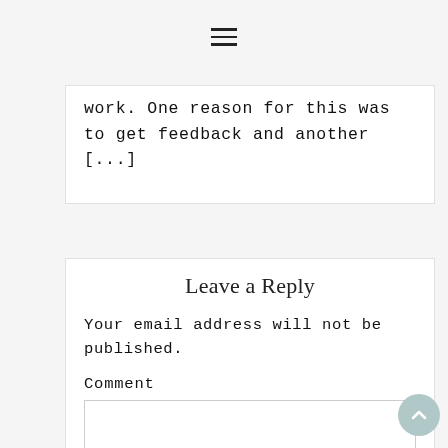☰
work. One reason for this was to get feedback and another [...]
Leave a Reply
Your email address will not be published.
Comment